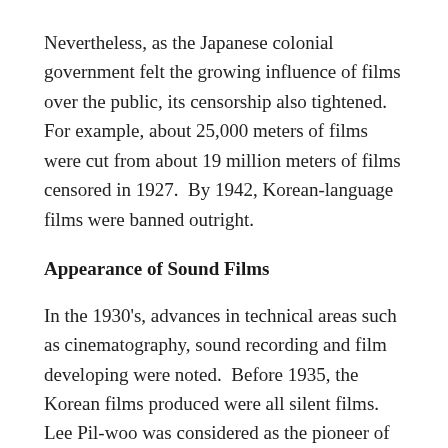Nevertheless, as the Japanese colonial government felt the growing influence of films over the public, its censorship also tightened. For example, about 25,000 meters of films were cut from about 19 million meters of films censored in 1927.  By 1942, Korean-language films were banned outright.
Appearance of Sound Films
In the 1930's, advances in technical areas such as cinematography, sound recording and film developing were noted.  Before 1935, the Korean films produced were all silent films.  Lee Pil-woo was considered as the pioneer of Korean sound film and the godfather of Korean